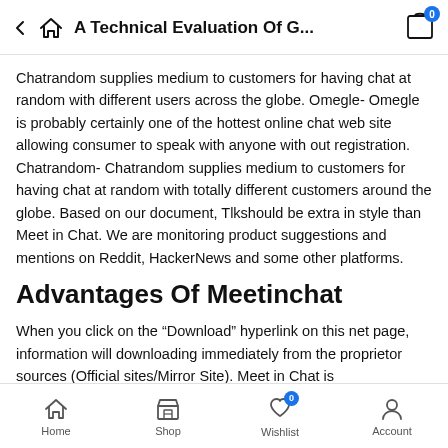A Technical Evaluation Of G...
Chatrandom supplies medium to customers for having chat at random with different users across the globe. Omegle- Omegle is probably certainly one of the hottest online chat web site allowing consumer to speak with anyone with out registration. Chatrandom- Chatrandom supplies medium to customers for having chat at random with totally different customers around the globe. Based on our document, Tlkshould be extra in style than Meet in Chat. We are monitoring product suggestions and mentions on Reddit, HackerNews and some other platforms.
Advantages Of Meetinchat
When you click on the “Download” hyperlink on this net page, information will downloading immediately from the proprietor sources (Official sites/Mirror Site). Meet in Chat is unquestionably
Home  Shop  Wishlist  Account